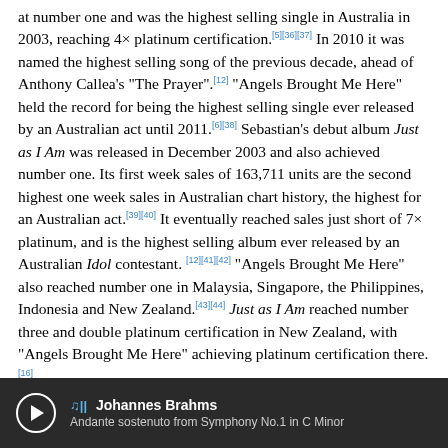at number one and was the highest selling single in Australia in 2003, reaching 4× platinum certification.[5][36][37] In 2010 it was named the highest selling song of the previous decade, ahead of Anthony Callea's "The Prayer".[12] "Angels Brought Me Here" held the record for being the highest selling single ever released by an Australian act until 2011.[6][38] Sebastian's debut album Just as I Am was released in December 2003 and also achieved number one. Its first week sales of 163,711 units are the second highest one week sales in Australian chart history, the highest for an Australian act.[39][40] It eventually reached sales just short of 7× platinum, and is the highest selling album ever released by an Australian Idol contestant.[12][41][42] "Angels Brought Me Here" also reached number one in Malaysia, Singapore, the Philippines, Indonesia and New Zealand.[43][44] Just as I Am reached number three and double platinum certification in New Zealand, with "Angels Brought Me Here" achieving platinum certification there.[16]
Johannes Brahms — Andante sostenuto from Symphony No.1 in C Minor